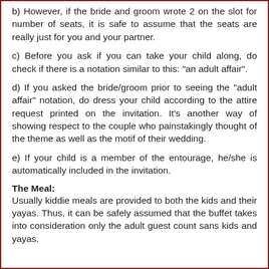b) However, if the bride and groom wrote 2 on the slot for number of seats, it is safe to assume that the seats are really just for you and your partner.
c) Before you ask if you can take your child along, do check if there is a notation similar to this: "an adult affair".
d) If you asked the bride/groom prior to seeing the "adult affair" notation, do dress your child according to the attire request printed on the invitation. It's another way of showing respect to the couple who painstakingly thought of the theme as well as the motif of their wedding.
e) If your child is a member of the entourage, he/she is automatically included in the invitation.
The Meal:
Usually kiddie meals are provided to both the kids and their yayas. Thus, it can be safely assumed that the buffet takes into consideration only the adult guest count sans kids and yayas.